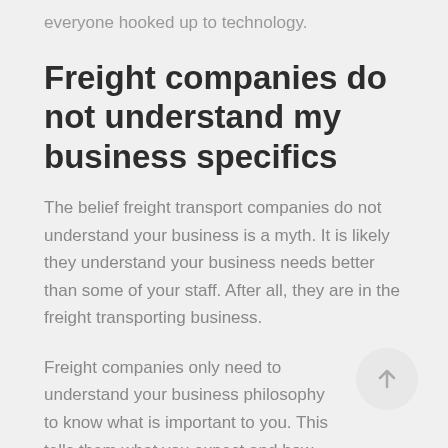everyone hooked up to technology.
Freight companies do not understand my business specifics
The belief freight transport companies do not understand your business is a myth. It is likely they understand your business needs better than some of your staff. After all, they are in the freight transporting business.
Freight companies only need to understand your business philosophy to know what is important to you. This tells them what you expect and how you treat your customers. After all, freight transport companies are in the business of freight logistics.